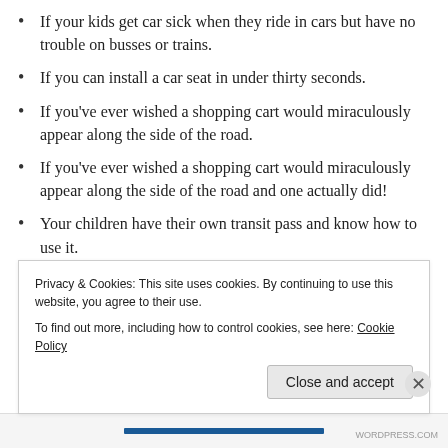If your kids get car sick when they ride in cars but have no trouble on busses or trains.
If you can install a car seat in under thirty seconds.
If you've ever wished a shopping cart would miraculously appear along the side of the road.
If you've ever wished a shopping cart would miraculously appear along the side of the road and one actually did!
Your children have their own transit pass and know how to use it.
You make up silly songs or chants to sing while you're walking with your kids to keep them motivated.
Both you and your kids get excited when you go someplace
Privacy & Cookies: This site uses cookies. By continuing to use this website, you agree to their use.
To find out more, including how to control cookies, see here: Cookie Policy
Close and accept